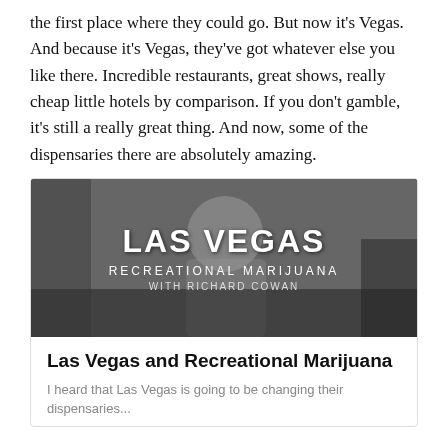the first place where they could go. But now it's Vegas. And because it's Vegas, they've got whatever else you like there. Incredible restaurants, great shows, really cheap little hotels by comparison. If you don't gamble, it's still a really great thing. And now, some of the dispensaries there are absolutely amazing.
[Figure (photo): Black and white photo of a person with overlay text reading 'LAS VEGAS / RECREATIONAL MARIJUANA / WITH RICHARD COWAN']
Las Vegas and Recreational Marijuana
I heard that Las Vegas is going to be changing their dispensaries...